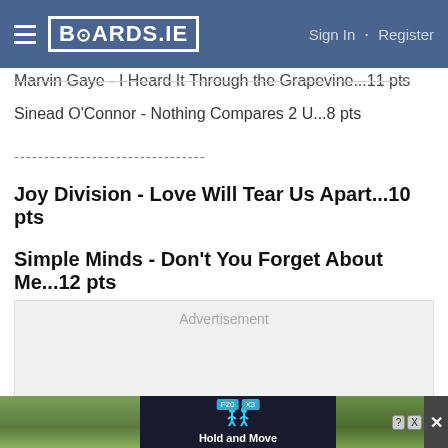BOARDS.IE | Sign In · Register
Marvin Gaye - I Heard It Through the Grapevine...11 pts
Sinead O'Connor - Nothing Compares 2 U...8 pts
--------------------------------
Joy Division - Love Will Tear Us Apart...10 pts
Simple Minds - Don't You Forget About Me...12 pts
[Figure (other): Advertisement placeholder box with label 'Advertisement']
[Figure (other): Bottom banner advertisement showing 'Hold and Move' with icons and close button]